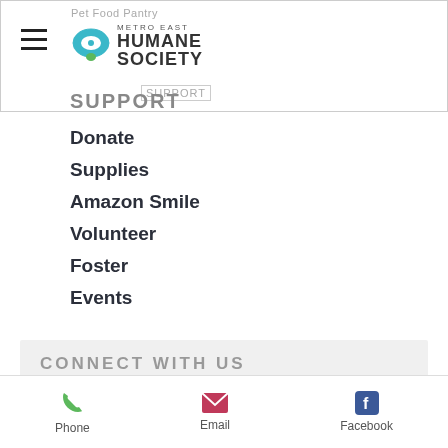[Figure (logo): Metro East Humane Society logo with pet collar icon and 'Pet Food Pantry' text above]
SUPPORT
Donate
Supplies
Amazon Smile
Volunteer
Foster
Events
CONNECT WITH US
Email
Subscribe Now
Phone  Email  Facebook